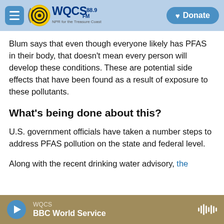WQCS 88.9 FM — NPR for the Treasure Coast | Donate
Blum says that even though everyone likely has PFAS in their body, that doesn't mean every person will develop these conditions. These are potential side effects that have been found as a result of exposure to these pollutants.
What's being done about this?
U.S. government officials have taken a number steps to address PFAS pollution on the state and federal level.
Along with the recent drinking water advisory, the
WQCS — BBC World Service